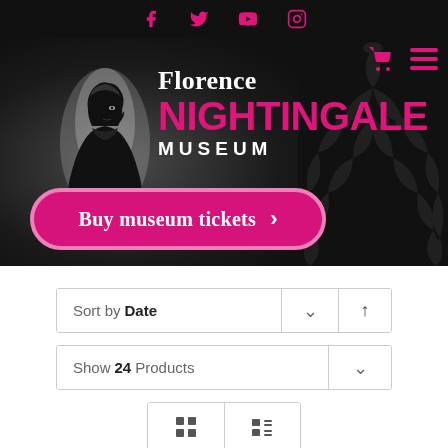[Figure (screenshot): Florence Nightingale Museum website screenshot showing social media icons bar, hero banner with museum logo, buy tickets button, and product sorting/view controls]
Sort by Date
Show 24 Products